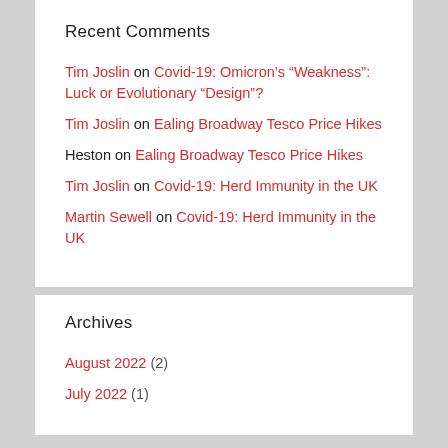Recent Comments
Tim Joslin on Covid-19: Omicron's “Weakness”: Luck or Evolutionary “Design”?
Tim Joslin on Ealing Broadway Tesco Price Hikes
Heston on Ealing Broadway Tesco Price Hikes
Tim Joslin on Covid-19: Herd Immunity in the UK
Martin Sewell on Covid-19: Herd Immunity in the UK
Archives
August 2022 (2)
July 2022 (1)